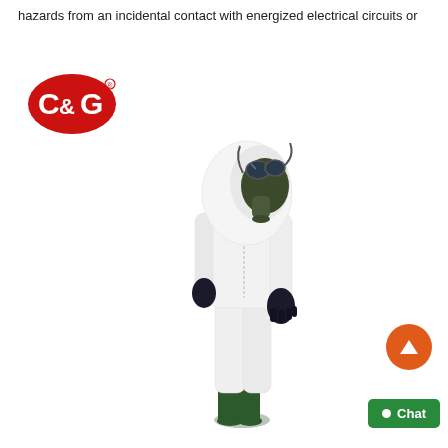hazards from an incidental contact with energized electrical circuits or parts.
[Figure (photo): A person wearing a full white protective coverall/hazmat suit with hood, dark military-style gas mask/respirator, black heavy-duty gloves, and dark green rubber boots, standing in profile view against a white background. A C&G brand logo appears in the upper left of the image.]